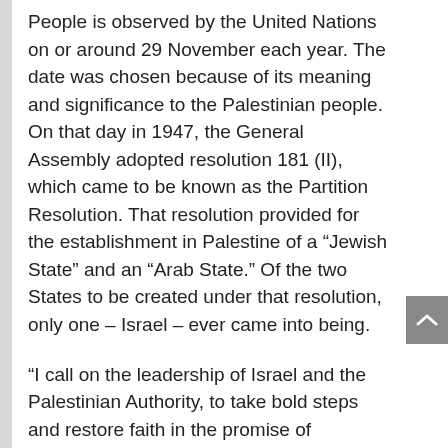People is observed by the United Nations on or around 29 November each year. The date was chosen because of its meaning and significance to the Palestinian people. On that day in 1947, the General Assembly adopted resolution 181 (II), which came to be known as the Partition Resolution. That resolution provided for the establishment in Palestine of a “Jewish State” and an “Arab State.” Of the two States to be created under that resolution, only one – Israel – ever came into being.
“I call on the leadership of Israel and the Palestinian Authority, to take bold steps and restore faith in the promise of Resolution 181 – partition of Palestine resolution, of two states living side-by-side in peace and security, fulfilling the legitimate national aspirations of both peoples, with borders based on the 1967 lines and Jerusalem as the capital of both states – East Jerusalem being the capital of the Palestinian state,”